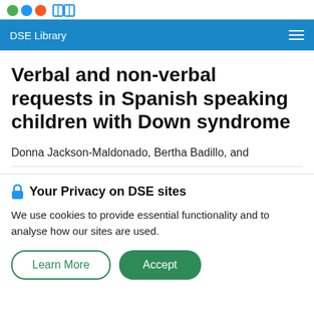DSE Library
Verbal and non-verbal requests in Spanish speaking children with Down syndrome
Donna Jackson-Maldonado, Bertha Badillo, and
🔒 Your Privacy on DSE sites
We use cookies to provide essential functionality and to analyse how our sites are used.
Learn More | Accept